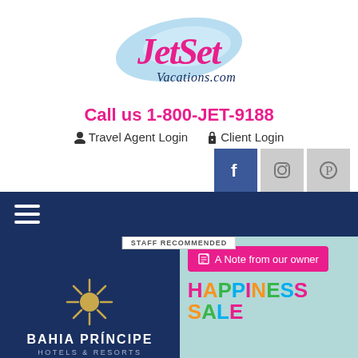[Figure (logo): JetSet Vacations.com logo with pink cursive text and light blue hat shape]
Call us 1-800-JET-9188
Travel Agent Login   Client Login
[Figure (infographic): Social media icons: Facebook (blue), Instagram (grey), Pinterest (grey)]
[Figure (infographic): Navy blue navigation bar with hamburger menu icon]
STAFF RECOMMENDED
[Figure (logo): Bahia Principe Hotels & Resorts logo on dark blue background with gold sunburst]
A Note from our owner
HAPPINESS SALE